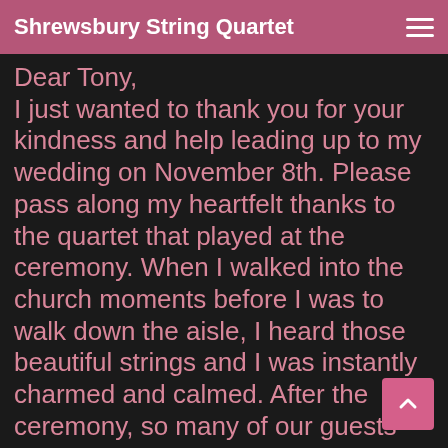Shrewsbury String Quartet
Dear Tony,
I just wanted to thank you for your kindness and help leading up to my wedding on November 8th. Please pass along my heartfelt thanks to the quartet that played at the ceremony. When I walked into the church moments before I was to walk down the aisle, I heard those beautiful strings and I was instantly charmed and calmed. After the ceremony, so many of our guests commented on the music and how it sounded so different and uplifting